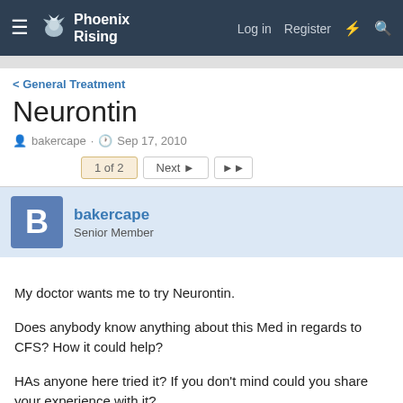Phoenix Rising — Log in  Register
General Treatment
Neurontin
bakercape · Sep 17, 2010
1 of 2  Next ▶  ▶▶
bakercape
Senior Member
My doctor wants me to try Neurontin.
Does anybody know anything about this Med in regards to CFS? How it could help?
HAs anyone here tried it? If you don't mind could you share your experience with it?